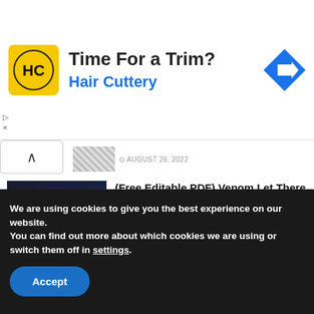[Figure (screenshot): Hair Cuttery advertisement banner with yellow logo, 'Time For a Trim?' headline, 'Hair Cuttery' subtitle in blue, and blue diamond arrow icon]
▷
×
AUGUST 26, 2022 (partial, top-clipped article)
(Free Editable PDF) Venom Let There Be Carnage Birthday Invitation Templates
AUGUST 26, 2022
(Free Editable PDF) Whoof Whoof Hey Duggee Birthday Invitation Templates
AUGUST 22, 2022
We are using cookies to give you the best experience on our website.
You can find out more about which cookies we are using or switch them off in settings.
Accept